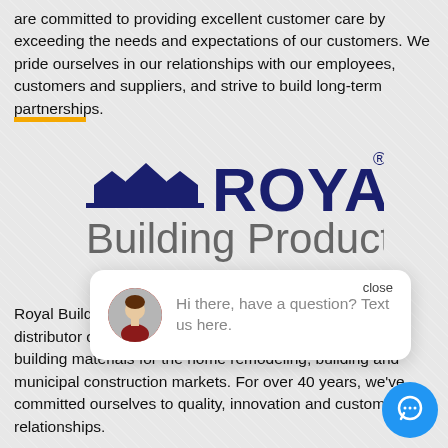are committed to providing excellent customer care by exceeding the needs and expectations of our customers. We pride ourselves in our relationships with our employees, customers and suppliers, and strive to build long-term partnerships.
[Figure (logo): Royal Building Products logo with house/rooftop icon above the word ROYAL in dark navy blue, and 'Building Products' in grey below]
[Figure (screenshot): Chat popup widget with close button, avatar of a woman, and text: 'Hi there, have a question? Text us here.']
Royal Building Products is a leading manufacturer and distributor of a broad range of state-of-the-art exterior building materials for the home remodeling, building and municipal construction markets. For over 40 years, we've committed ourselves to quality, innovation and customer relationships.